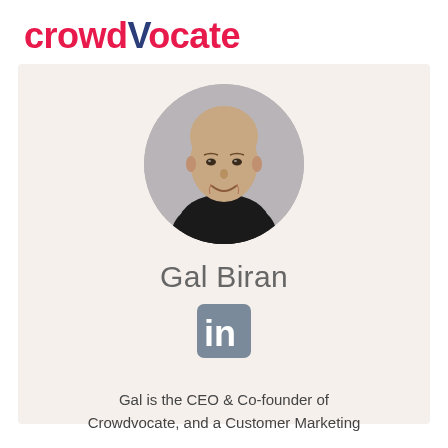[Figure (logo): Crowdvocate logo — 'crowd' in pink/red, 'V' in dark navy, 'ocate' in pink/red]
[Figure (photo): Circular headshot of Gal Biran, a bald man wearing a black polo shirt, smiling, against a grey background]
Gal Biran
[Figure (logo): LinkedIn icon — white 'in' on a grey/steel blue rounded square background]
Gal is the CEO & Co-founder of Crowdvocate, and a Customer Marketing